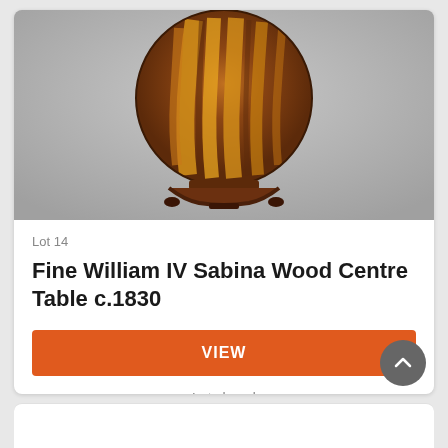[Figure (photo): Antique William IV Sabina Wood Centre Table c.1830 — a large circular tilting table top with dramatic brown and golden-yellow figuring, mounted on a carved mahogany base with claw feet, photographed against a grey gradient background.]
Lot 14
Fine William IV Sabina Wood Centre Table c.1830
VIEW
Lot closed
Lot location: Worcester